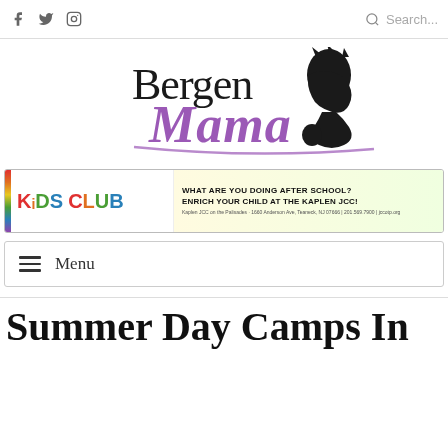Social icons: f (Facebook), Twitter, Instagram; Search bar
[Figure (logo): Bergen Mama logo with black silhouette of mother and child and purple script 'Mama' text]
[Figure (infographic): Kids Club advertisement banner: 'WHAT ARE YOU DOING AFTER SCHOOL? ENRICH YOUR CHILD AT THE KAPLEN JCC!' - Kaplen JCC on the Palisades]
Menu
Summer Day Camps In